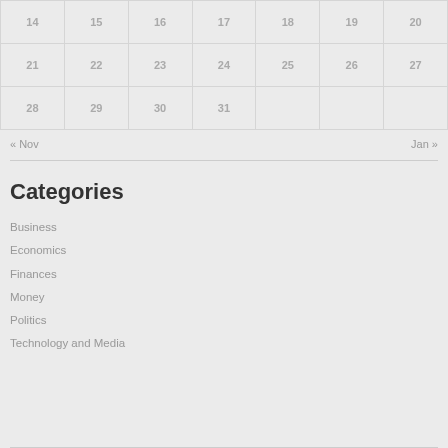| 14 | 15 | 16 | 17 | 18 | 19 | 20 |
| 21 | 22 | 23 | 24 | 25 | 26 | 27 |
| 28 | 29 | 30 | 31 |  |  |  |
« Nov    Jan »
Categories
Business
Economics
Finances
Money
Politics
Technology and Media